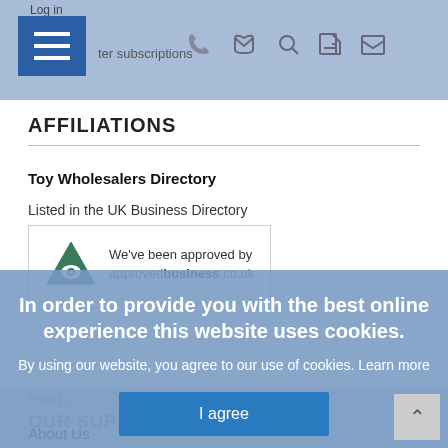Log in  ter subscriptions
AFFILIATIONS
Toy Wholesalers Directory
Listed in the UK Business Directory
[Figure (logo): Approved business badge with logo and text: We've been approved by approvedbusiness.co.uk]
Free Li...
OUR SUPPORT
In order to provide you with the best online experience this website uses cookies.
By using our website, you agree to our use of cookies. Learn more
I agree
About Us